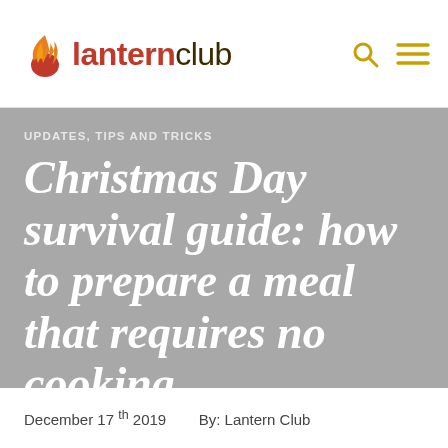lanternclub
UPDATES, TIPS AND TRICKS
Christmas Day survival guide: how to prepare a meal that requires no cooking
December 17th 2019   By: Lantern Club